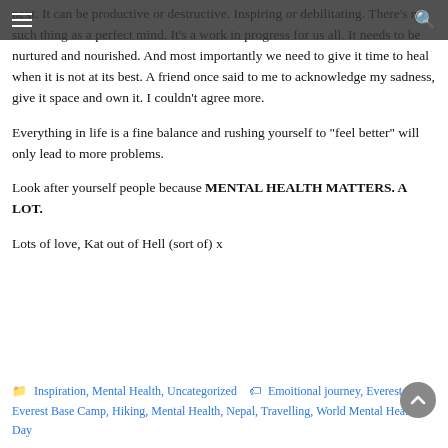Navigation bar with hamburger menu and search icon
next. It can be productive or destructive. Inspiring or debilitating. There’s no such thing as a perfect mind. It’s a work in progress for us all. It needs to be nurtured and nourished. And most importantly we need to give it time to heal when it is not at its best. A friend once said to me to acknowledge my sadness, give it space and own it. I couldn’t agree more.
Everything in life is a fine balance and rushing yourself to “feel better” will only lead to more problems.
Look after yourself people because MENTAL HEALTH MATTERS. A LOT.
Lots of love, Kat out of Hell (sort of) x
Inspiration, Mental Health, Uncategorized  Emoitional journey, Everest, Everest Base Camp, Hiking, Mental Health, Nepal, Travelling, World Mental Health Day